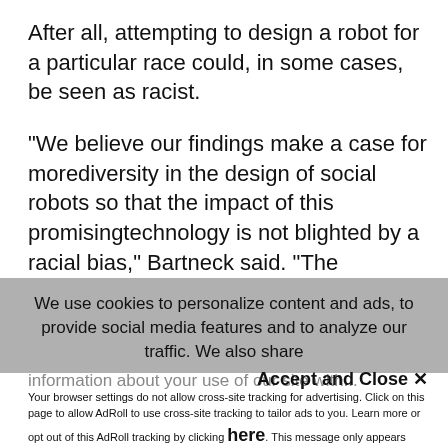After all, attempting to design a robot for a particular race could, in some cases, be seen as racist.
“We believe our findings make a case for morediversity in the design of social robots so that the impact of this promisingtechnology is not blighted by a racial bias,” Bartneck said. “The development of an Arabiclooking robot as
We use cookies to personalize content and ads, to provide social media features and to analyze our traffic. We also share
information about your use of our site with...
Accept and Close ×
Your browser settings do not allow cross-site tracking for advertising. Click on this page to allow AdRoll to use cross-site tracking to tailor ads to you. Learn more or opt out of this AdRoll tracking by clicking here. This message only appears once.